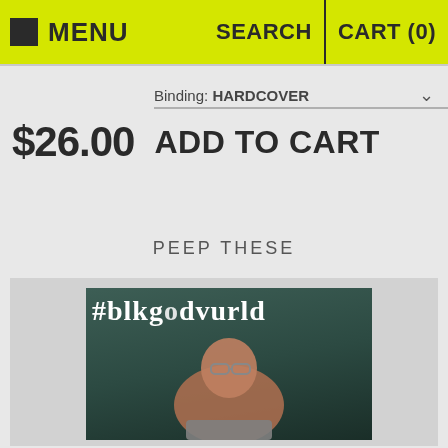MENU   SEARCH   CART (0)
Binding: HARDCOVER
$26.00   ADD TO CART
PEEP THESE
[Figure (photo): Product image showing a book cover with '#blkgodvurld' text in gothic/blackletter font over a dark teal background, with a person wearing glasses looking upward and wearing a grey sleeveless shirt]